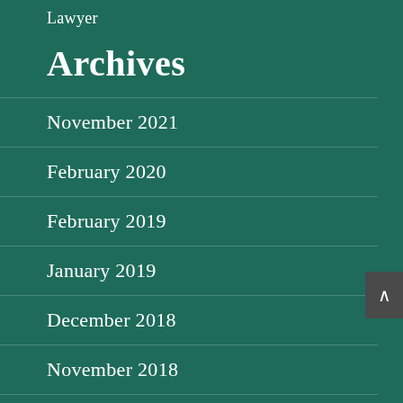Lawyer
Archives
November 2021
February 2020
February 2019
January 2019
December 2018
November 2018
October 2018
September 2018